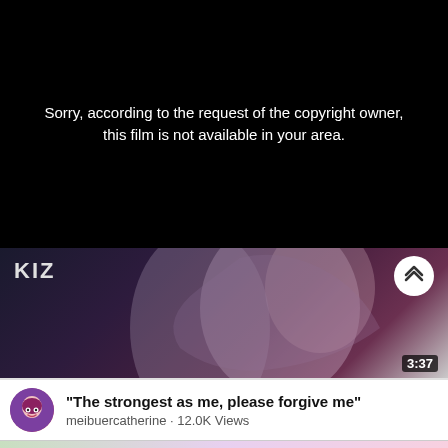Sorry, according to the request of the copyright owner, this film is not available in your area.
[Figure (screenshot): Anime video thumbnail showing characters, with 'KIZ' text label, an up-chevron button, and 3:37 duration timer]
"The strongest as me, please forgive me"
meibuercatherine · 12.0K Views
[Figure (screenshot): Partial anime thumbnail at bottom showing characters with braided hair on green/pink background]